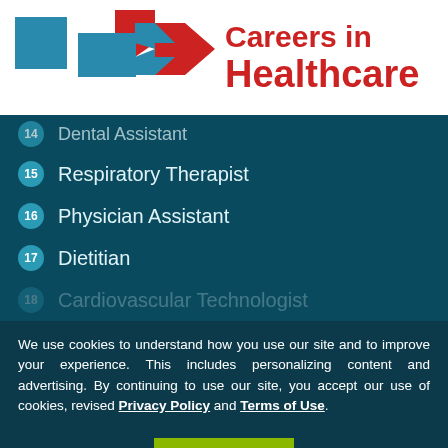[Figure (logo): Careers in Healthcare logo with blue square, red/blue cross-arrow graphic, and red text 'Careers in Healthcare']
14 Dental Assistant
15 Respiratory Therapist
16 Physician Assistant
17 Dietitian
18 Cardiovascular Technologist (partial, cut off)
We use cookies to understand how you use our site and to improve your experience. This includes personalizing content and advertising. By continuing to use our site, you accept our use of cookies, revised Privacy Policy and Terms of Use.
I AGREE